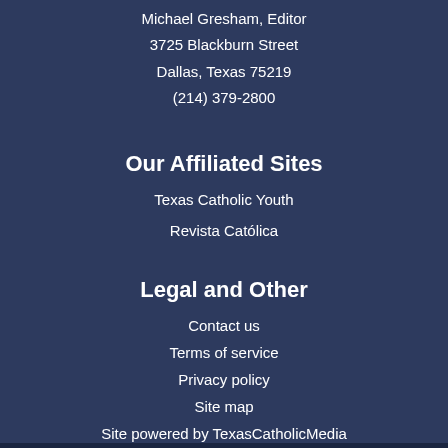Michael Gresham, Editor
3725 Blackburn Street
Dallas, Texas 75219
(214) 379-2800
Our Affiliated Sites
Texas Catholic Youth
Revista Católica
Legal and Other
Contact us
Terms of service
Privacy policy
Site map
Site powered by TexasCatholicMedia